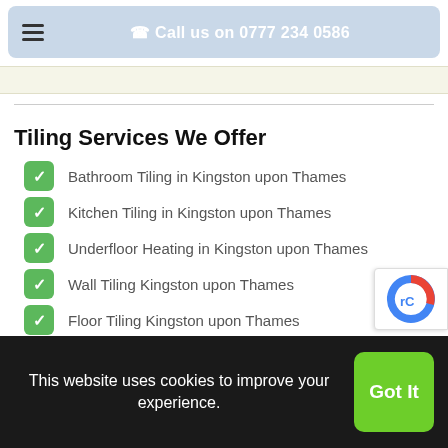Call us on 0777 234 0586
Tiling Services We Offer
Bathroom Tiling in Kingston upon Thames
Kitchen Tiling in Kingston upon Thames
Underfloor Heating in Kingston upon Thames
Wall Tiling Kingston upon Thames
Floor Tiling Kingston upon Thames
Herringbone Tiling Kingston upon Thames
This website uses cookies to improve your experience.